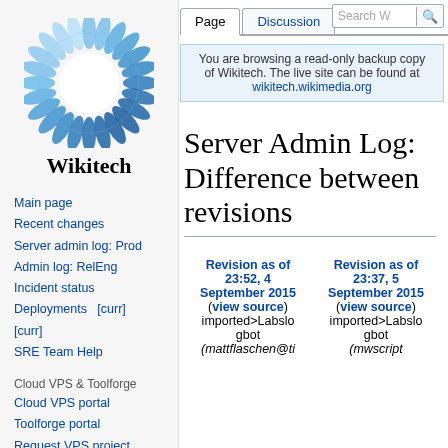Log in
[Figure (logo): Wikitech sunflower logo with text 'Wikitech' below]
Main page
Recent changes
Server admin log: Prod
Admin log: RelEng
Incident status
Deployments   [curr] [curr]
SRE Team Help
Cloud VPS & Toolforge
Cloud VPS portal
Toolforge portal
Request VPS project
Admin log: Cloud VPS
You are browsing a read-only backup copy of Wikitech. The live site can be found at wikitech.wikimedia.org
Server Admin Log: Difference between revisions
| Revision as of 23:52, 4 September 2015 (view source) | Revision as of 23:37, 5 September 2015 (view source) |
| --- | --- |
| imported>Labslogbot | imported>Labslogbot |
| (mattflaschen@ti | (mwscript |